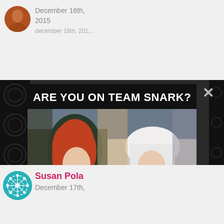[Figure (screenshot): Top portion of a blog comment section showing a user avatar (reddish-orange circular photo) and date text 'December 16th, 2015' with faded text below]
[Figure (photo): A modal/popup advertisement for FrockFlicks.com showing two women in period costume — one in a dark hood with red hair, one in a white veil — with overlaid text 'SUPPORT FROCKFLICKS.COM' in pink and white italic bold lettering]
ARE YOU ON TEAM SNARK?
Give via PayPal, Ko-fi, & Patreon, or buy swag!
[Figure (screenshot): Bottom portion of a blog comment section showing a teal/turquoise snowflake-patterned circular avatar, commenter name 'Susan Pola' in pink/red, and date 'December 17th,']